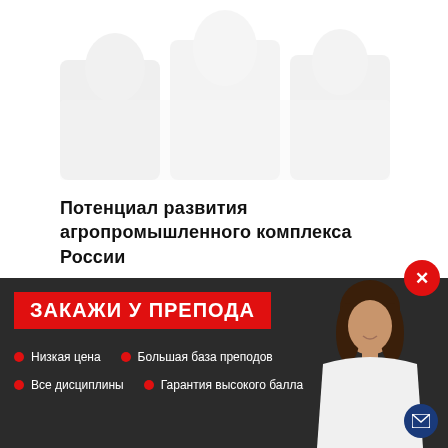[Figure (photo): Faded background image of people/students, very light watermark style]
Потенциал развития агропромышленного комплекса России
[Figure (infographic): Dark banner advertisement: 'ЗАКАЖИ У ПРЕПОДА' in red box, bullet points listing: Низкая цена, Большая база преподов, Все дисциплины, Гарантия высокого балла. Woman photo on the right side. Red close button top right, blue mail icon bottom right.]